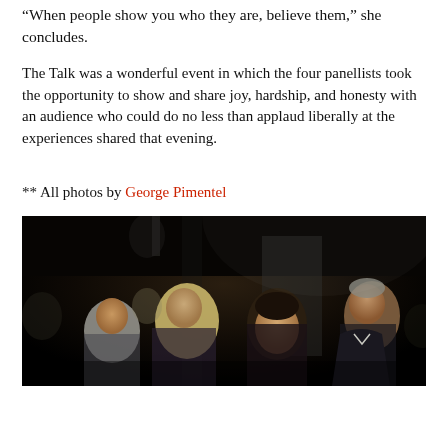“When people show you who they are, believe them,” she concludes.
The Talk was a wonderful event in which the four panellists took the opportunity to show and share joy, hardship, and honesty with an audience who could do no less than applaud liberally at the experiences shared that evening.
** All photos by George Pimentel
[Figure (photo): Audience members at an evening event, photographed from the front. Multiple people visible including women with blonde and dark hair and a man in a suit, all looking forward in a dark venue.]